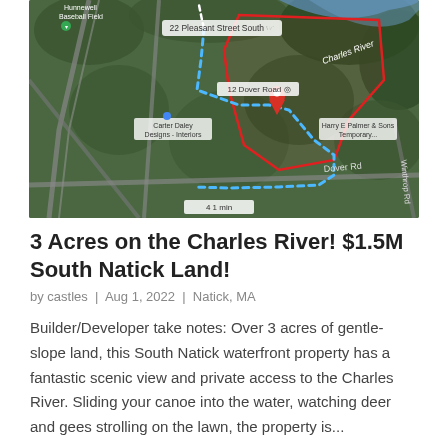[Figure (map): Aerial/satellite Google Maps view showing 12 Dover Road property outlined in red, with a blue dotted walking route from 22 Pleasant Street South, Charles River visible at top right, Carter Daley Designs Interiors label, Harry E Palmer & Sons Temporary label, Dover Rd label, and a location pin at 12 Dover Road.]
3 Acres on the Charles River! $1.5M South Natick Land!
by castles  |  Aug 1, 2022  |  Natick, MA
Builder/Developer take notes: Over 3 acres of gentle-slope land, this South Natick waterfront property has a fantastic scenic view and private access to the Charles River. Sliding your canoe into the water, watching deer and gees strolling on the lawn, the property is...